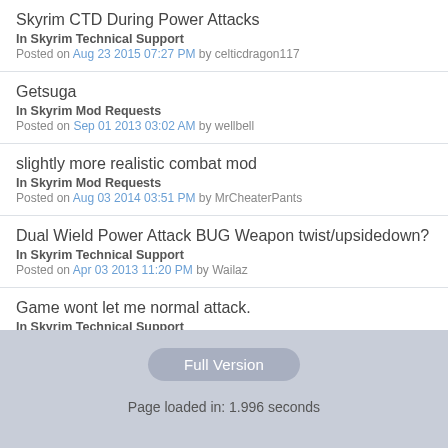Skyrim CTD During Power Attacks
In Skyrim Technical Support
Posted on Aug 23 2015 07:27 PM by celticdragon117
Getsuga
In Skyrim Mod Requests
Posted on Sep 01 2013 03:02 AM by wellbell
slightly more realistic combat mod
In Skyrim Mod Requests
Posted on Aug 03 2014 03:51 PM by MrCheaterPants
Dual Wield Power Attack BUG Weapon twist/upsidedown?
In Skyrim Technical Support
Posted on Apr 03 2013 11:20 PM by Wailaz
Game wont let me normal attack.
In Skyrim Technical Support
Posted on Jun 10 2013 10:27 AM by crawler3
Full Version
Page loaded in: 1.996 seconds